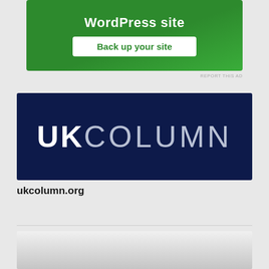[Figure (screenshot): Green advertisement banner with text 'WordPress site' and a white button 'Back up your site']
REPORT THIS AD
[Figure (logo): UK Column logo — dark navy blue banner with 'UKCOLUMN' text in white, bold UK and light-weight COLUMN]
ukcolumn.org
[Figure (screenshot): Partial bottom preview of next content block, partially cut off]